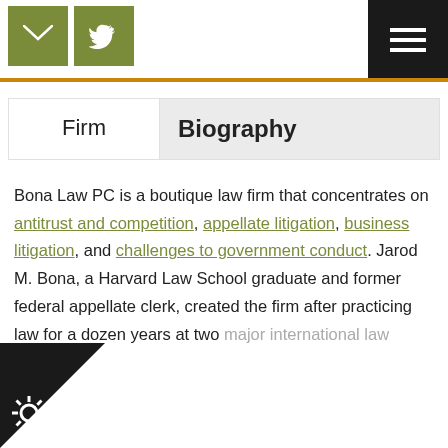[Figure (other): Top navigation bar with olive green email and Twitter icon buttons, and a black hamburger menu button on the right, separated by an orange horizontal rule]
| Firm | Biography |
| --- | --- |
Bona Law PC is a boutique law firm that concentrates on antitrust and competition, appellate litigation, business litigation, and challenges to government conduct. Jarod M. Bona, a Harvard Law School graduate and former federal appellate clerk, created the firm after practicing law for a dozen years at two major international law firms.